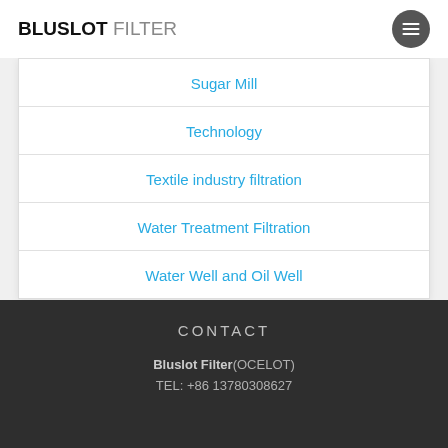BLUSLOT FILTER
Sugar Mill
Technology
Textile industry filtration
Water Treatment Filtration
Water Well and Oil Well
CONTACT
Bluslot Filter(OCELOT)
TEL: +86 13780308627